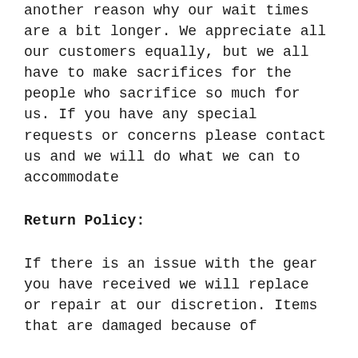another reason why our wait times are a bit longer. We appreciate all our customers equally, but we all have to make sacrifices for the people who sacrifice so much for us. If you have any special requests or concerns please contact us and we will do what we can to accommodate
Return Policy:
If there is an issue with the gear you have received we will replace or repair at our discretion. Items that are damaged because of